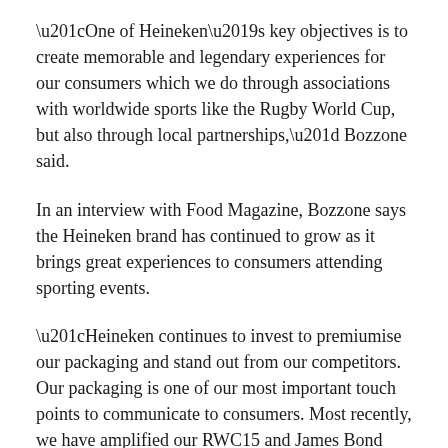“One of Heineken’s key objectives is to create memorable and legendary experiences for our consumers which we do through associations with worldwide sports like the Rugby World Cup, but also through local partnerships,” Bozzone said.
In an interview with Food Magazine, Bozzone says the Heineken brand has continued to grow as it brings great experiences to consumers attending sporting events.
“Heineken continues to invest to premiumise our packaging and stand out from our competitors. Our packaging is one of our most important touch points to communicate to consumers. Most recently, we have amplified our RWC15 and James Bond 007 Spectre campaigns through a packaging change,” Bozzone said.
The Heineken Lion venture’s full-year financial results have been lodged with the corporate regulator and show that sales increased by 2.5 per cent to $67.4 million for the year ended September 30, 2015.